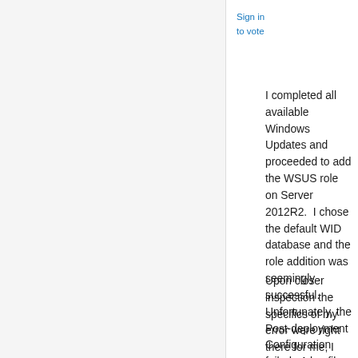Sign in
to vote
I completed all available Windows Updates and proceeded to add the WSUS role on Server 2012R2.  I chose the default WID database and the role addition was seemingly successful.  Unfortunately, the Post-deployment Configuration failed.  A log file had been created in the AppData\Local\Temp folder but at initial glance it seemed to imply that my error was likely due to skipping a step during installation via PowerShell, however, I didn't install using PowerShell.
Upon closer inspection the specifics of my error were right there for me, I just had to look at it long enough to decipher the details.  What I now read is that Post-deployment